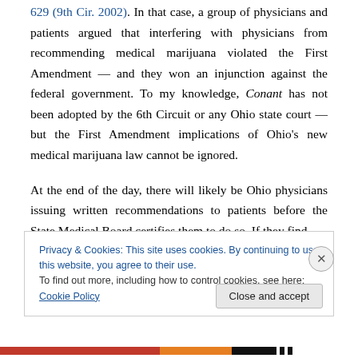629 (9th Cir. 2002). In that case, a group of physicians and patients argued that interfering with physicians from recommending medical marijuana violated the First Amendment — and they won an injunction against the federal government. To my knowledge, Conant has not been adopted by the 6th Circuit or any Ohio state court — but the First Amendment implications of Ohio's new medical marijuana law cannot be ignored.
At the end of the day, there will likely be Ohio physicians issuing written recommendations to patients before the State Medical Board certifies them to do so. If they find
Privacy & Cookies: This site uses cookies. By continuing to use this website, you agree to their use.
To find out more, including how to control cookies, see here: Cookie Policy